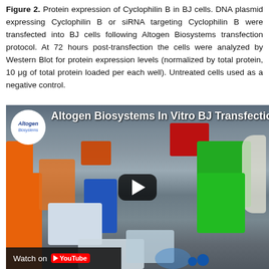Figure 2. Protein expression of Cyclophilin B in BJ cells. DNA plasmid expressing Cyclophilin B or siRNA targeting Cyclophilin B were transfected into BJ cells following Altogen Biosystems transfection protocol. At 72 hours post-transfection the cells were analyzed by Western Blot for protein expression levels (normalized by total protein, 10 μg of total protein loaded per each well). Untreated cells used as a negative control.
[Figure (screenshot): YouTube video thumbnail showing a laboratory scene with a researcher in white gloves handling lab equipment including pipette tip boxes, tube racks, and cell culture plates. The video is from Altogen Biosystems titled 'Altogen Biosystems In Vitro BJ Transfection Tutorial'. A play button is overlaid in the center, and a 'Watch on YouTube' bar appears at the bottom left.]